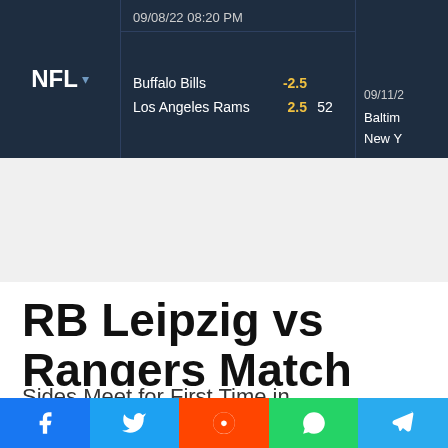NFL | 09/08/22 08:20 PM | Buffalo Bills -2.5 / Los Angeles Rams 2.5 | 52 | 09/11/2 Baltim / New Y
[Figure (logo): Point Spreads logo - blue POINT with white SPREADS on dark background]
Home / Sport Betting News / Europa League
RB Leipzig vs Rangers Match Betting Preview
Sides Meet for First Time in
[Figure (infographic): Social sharing bar with Facebook, Twitter, Reddit, WhatsApp, Telegram buttons]